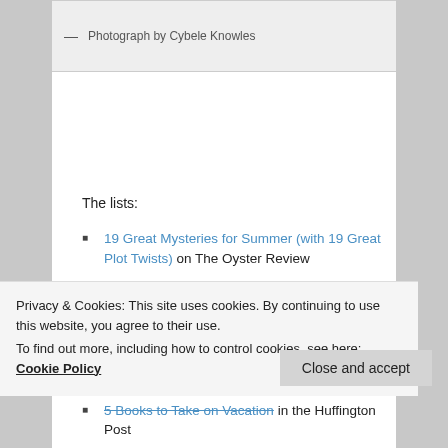— Photograph by Cybele Knowles
The lists:
19 Great Mysteries for Summer (with 19 Great Plot Twists) on The Oyster Review
PW Picks: Books of the Week, May 11, 2015 on Publishers Weekly
Privacy & Cookies: This site uses cookies. By continuing to use this website, you agree to their use.
To find out more, including how to control cookies, see here: Cookie Policy
5 Books to Take on Vacation in the Huffington Post